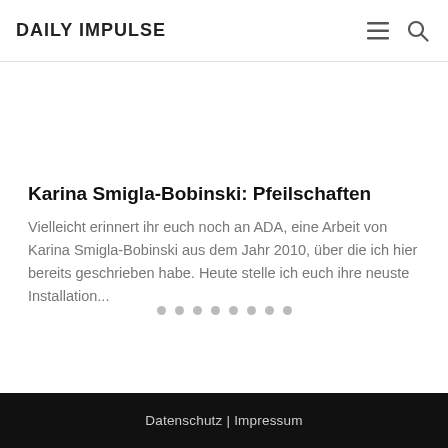DAILY IMPULSE
Karina Smigla-Bobinski: Pfeilschaften
Vielleicht erinnert ihr euch noch an ADA, eine Arbeit von Karina Smigla-Bobinski aus dem Jahr 2010, über die ich hier bereits geschrieben habe. Heute stelle ich euch ihre neuste Installation...
Datenschutz | Impressum